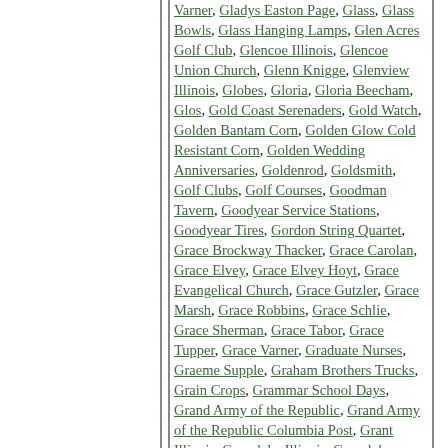Varner, Gladys Easton Page, Glass, Glass Bowls, Glass Hanging Lamps, Glen Acres Golf Club, Glencoe Illinois, Glencoe Union Church, Glenn Knigge, Glenview Illinois, Globes, Gloria, Gloria Beecham, Glos, Gold Coast Serenaders, Gold Watch, Golden Bantam Corn, Golden Glow Cold Resistant Corn, Golden Wedding Anniversaries, Goldenrod, Goldsmith, Golf Clubs, Golf Courses, Goodman Tavern, Goodyear Service Stations, Goodyear Tires, Gordon String Quartet, Grace Brockway Thacker, Grace Carolan, Grace Elvey, Grace Elvey Hoyt, Grace Evangelical Church, Grace Gutzler, Grace Marsh, Grace Robbins, Grace Schlie, Grace Sherman, Grace Tabor, Grace Tupper, Grace Varner, Graduate Nurses, Graeme Supple, Graham Brothers Trucks, Grain Crops, Grammar School Days, Grand Army of the Republic, Grand Army of the Republic Columbia Post, Grant Illinois, Grayslake Illinois, Grayslake Times, Grayslake Times Editor, Grease Traps, Greases, Great Lakes Hospital, Great Lakes Naval Station, Great Lakes Naval Station Young Men's Christian Association, Great Lakes Naval Training Station, Greater Deerfield News, Greece, Green Bay House, Green Bay Illinois, Green Bay